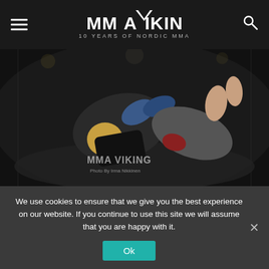MMA VIKING — 10 YEARS OF NORDIC MMA
[Figure (photo): Two MMA fighters grappling on the mat inside an octagon cage, one applying a ground and pound or submission hold, with MMA Viking watermark visible]
The explosive (see 8 second KO at SWFC 86) Junior Karanta (2-1) and grappler Rafael Macedo (8-4-0, 1NC) will have the Gothenburg home city advantage, as will Alan Carlos
We use cookies to ensure that we give you the best experience on our website. If you continue to use this site we will assume that you are happy with it.